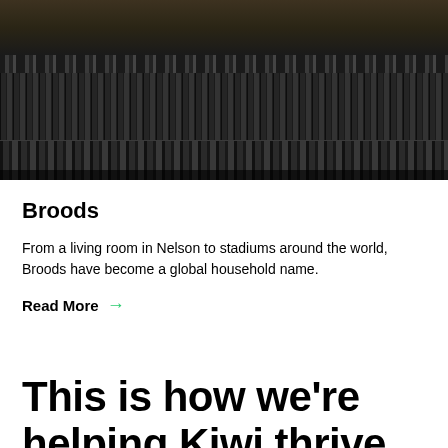[Figure (photo): Two people at a large mixing console / recording desk in a music studio, viewed from above the console faders and knobs]
Broods
From a living room in Nelson to stadiums around the world, Broods have become a global household name.
Read More →
This is how we're helping Kiwi thrive